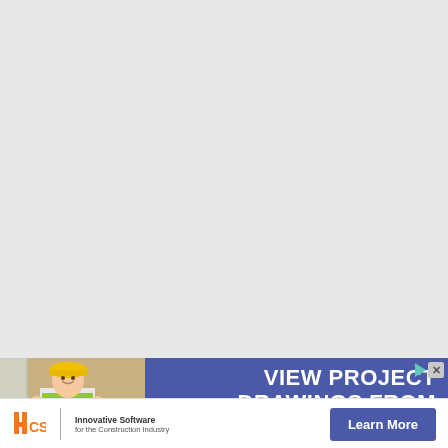[Figure (photo): Advertisement banner showing a construction worker in a yellow hard hat and high-visibility vest using a tablet on a construction site, with blue overlay panel showing text 'VIEW PROJECT DRAWINGS FROM ANYWHERE']
VIEW PROJECT DRAWINGS FROM ANYWHERE
[Figure (logo): HCSS logo - Innovative Software for the Construction Industry]
Innovative Software for the Construction Industry
Learn More